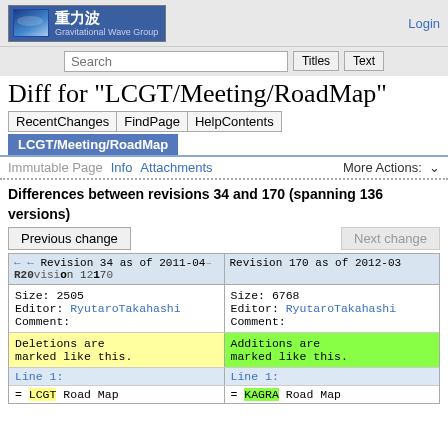重力波 Gravitational Wave Group | Login
Search | Titles | Text
Diff for "LCGT/Meeting/RoadMap"
RecentChanges | FindPage | HelpContents
LCGT/Meeting/RoadMap
Immutable Page | Info | Attachments | More Actions:
Differences between revisions 34 and 170 (spanning 136 versions)
| ← Revision 34 as of 2011-04... | Revision 170 as of 2012-03... |
| --- | --- |
| Size: 2505
Editor: RyutaroTakahashi
Comment: | Size: 6768
Editor: RyutaroTakahashi
Comment: |
| Deletions are marked like this. | Additions are marked like this. |
| Line 1: | Line 1: |
| = LCGT Road Map | = KAGRA Road Map |